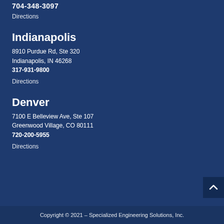704-348-3097
Directions
Indianapolis
8910 Purdue Rd, Ste 320
Indianapolis, IN 46268
317-931-9800
Directions
Denver
7100 E Belleview Ave, Ste 107
Greenwood Village, CO 80111
720-200-5955
Directions
Copyright © 2021 – Specialized Engineering Solutions, Inc.